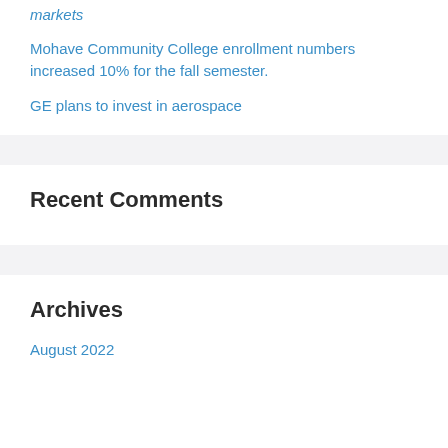markets
Mohave Community College enrollment numbers increased 10% for the fall semester.
GE plans to invest in aerospace
Recent Comments
Archives
August 2022